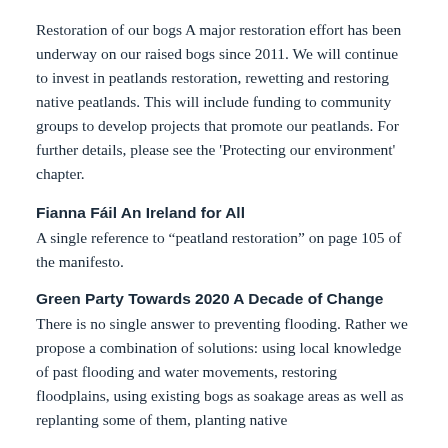Restoration of our bogs A major restoration effort has been underway on our raised bogs since 2011. We will continue to invest in peatlands restoration, rewetting and restoring native peatlands. This will include funding to community groups to develop projects that promote our peatlands. For further details, please see the 'Protecting our environment' chapter.
Fianna Fáil An Ireland for All
A single reference to “peatland restoration” on page 105 of the manifesto.
Green Party Towards 2020 A Decade of Change
There is no single answer to preventing flooding. Rather we propose a combination of solutions: using local knowledge of past flooding and water movements, restoring floodplains, using existing bogs as soakage areas as well as replanting some of them, planting native